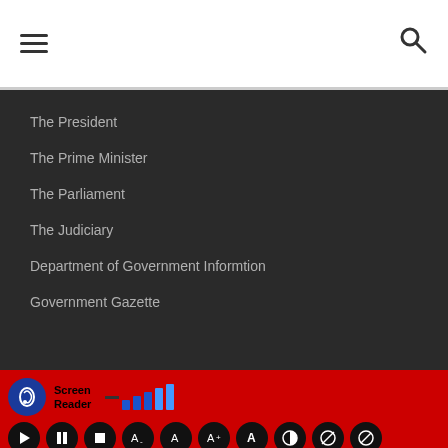Navigation menu header with hamburger and search icons
The President
The Prime Minister
The Parliament
The Judiciary
Department of Government Informtion
Government Gazette
[Figure (infographic): Screen Reader accessibility toolbar with ear/hearing icon, signal bars, and media control buttons (play, pause, stop, and text/accessibility options) on a red background]